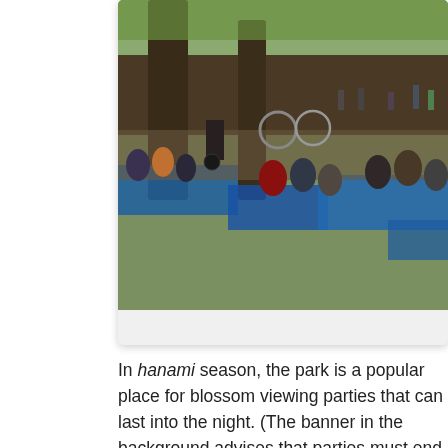[Figure (photo): People sitting on blue tarps/picnic mats in a park under trees, with bicycles visible in the background. A crowded hanami (cherry blossom viewing) party scene.]
In hanami season, the park is a popular place for blossom viewing parties that can last into the night. (The banner in the background advises that parties must end by 10:00 pm.)
[Figure (photo): Cherry blossom trees in full bloom with branches extending across the frame against a pale blue sky.]